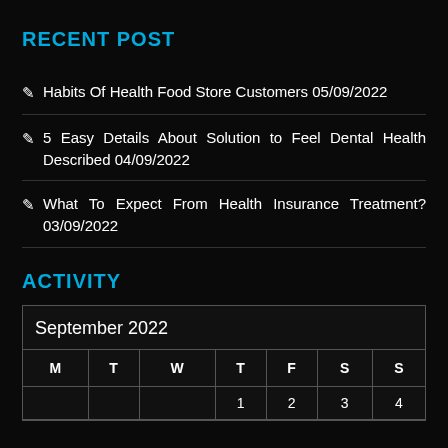RECENT POST
✎ Habits Of Health Food Store Customers 05/09/2022
✎ 5 Easy Details About Solution to Feel Dental Health Described 04/09/2022
✎ What To Expect From Health Insurance Treatment? 03/09/2022
ACTIVITY
| M | T | W | T | F | S | S |
| --- | --- | --- | --- | --- | --- | --- |
|  |  |  | 1 | 2 | 3 | 4 |